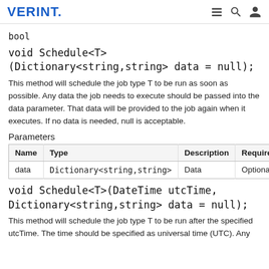VERINT.
bool
void Schedule<T>(Dictionary<string,string> data = null);
This method will schedule the job type T to be run as soon as possible. Any data the job needs to execute should be passed into the data parameter. That data will be provided to the job again when it executes. If no data is needed, null is acceptable.
Parameters
| Name | Type | Description | Required |
| --- | --- | --- | --- |
| data | Dictionary<string,string> | Data | Optional |
void Schedule<T>(DateTime utcTime, Dictionary<string,string> data = null);
This method will schedule the job type T to be run after the specified utcTime. The time should be specified as universal time (UTC). Any